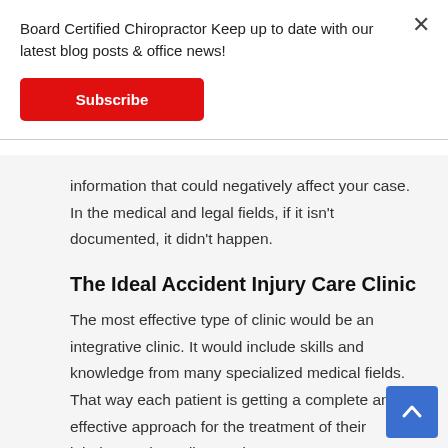Board Certified Chiropractor Keep up to date with our latest blog posts & office news!
Subscribe
information that could negatively affect your case. In the medical and legal fields, if it isn't documented, it didn't happen.
The Ideal Accident Injury Care Clinic
The most effective type of clinic would be an integrative clinic. It would include skills and knowledge from many specialized medical fields. That way each patient is getting a complete and effective approach for the treatment of their injuries. Orthopedists and